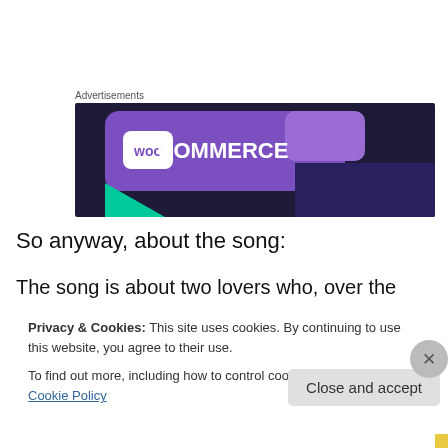Advertisements
[Figure (illustration): WooCommerce advertisement banner with purple gradient background and WooCommerce logo in white text]
So anyway, about the song:
The song is about two lovers who, over the course of 20
Privacy & Cookies: This site uses cookies. By continuing to use this website, you agree to their use.
To find out more, including how to control cookies, see here: Cookie Policy
Close and accept